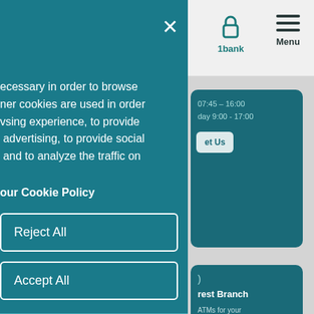[Figure (screenshot): Screenshot of a bank website (likely a 1bank interface) showing a cookie consent modal overlay on the left side with teal background, close button (×), cookie policy text, 'Reject All' and 'Accept All' buttons in outlined white boxes. The right panel shows the website navigation bar with a padlock icon labeled '1bank' and a hamburger menu labeled 'Menu', along with two teal information cards showing banking hours, a 'Contact Us' link, 'Nearest Branch', ATMs text, and 'ons' button partial text.]